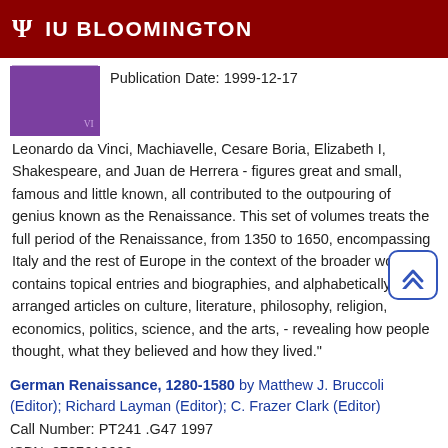IU BLOOMINGTON
Publication Date: 1999-12-17
Leonardo da Vinci, Machiavelle, Cesare Boria, Elizabeth I, Shakespeare, and Juan de Herrera - figures great and small, famous and little known, all contributed to the outpouring of genius known as the Renaissance. This set of volumes treats the full period of the Renaissance, from 1350 to 1650, encompassing Italy and the rest of Europe in the context of the broader world. It contains topical entries and biographies, and alphabetically arranged articles on culture, literature, philosophy, religion, economics, politics, science, and the arts, - revealing how people thought, what they believed and how they lived."
German Renaissance, 1280-1580 by Matthew J. Bruccoli (Editor); Richard Layman (Editor); C. Frazer Clark (Editor)
Call Number: PT241 .G47 1997
ISBN: 0787610690
Publication Date: 1997-07-18
This award-winning multi-volume series is dedicated to making literature and its creators better understood and more accessible to students and interested readers, while satisfying the standards of librarians, teachers and